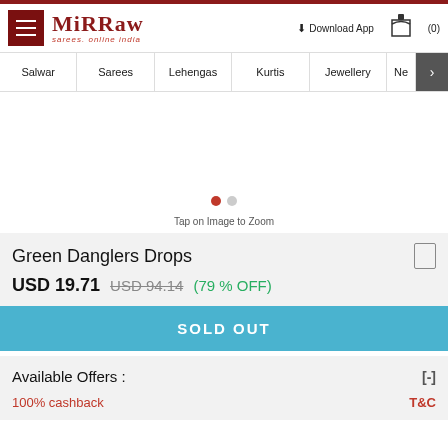Mirraw - Sarees. Online India. Download App (0)
Salwar | Sarees | Lehengas | Kurtis | Jewellery | Ne >
[Figure (photo): Product image carousel area with dots indicator (active and inactive dots shown)]
Tap on Image to Zoom
Green Danglers Drops
USD 19.71  USD 94.14  (79 % OFF)
SOLD OUT
Available Offers :
100% cashback
T&C